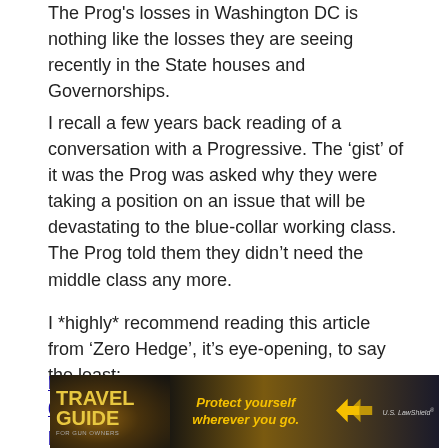The Prog's losses in Washington DC is nothing like the losses they are seeing recently in the State houses and Governorships.
I recall a few years back reading of a conversation with a Progressive. The ‘gist’ of it was the Prog was asked why they were taking a position on an issue that will be devastating to the blue-collar working class. The Prog told them they didn’t need the middle class any more.
I *highly* recommend reading this article from ‘Zero Hedge’, it’s eye-opening, to say the least:
http://www.zerohedge.com/news/2017-01-01/how-george-soros-destroyed-democratic-party
[Figure (photo): Advertisement banner for 'Travel Guide for Gun Owners' featuring text 'Protect yourself wherever you go.' with arrow graphics and US LawShield branding, dark background with outdoor/sunset imagery.]